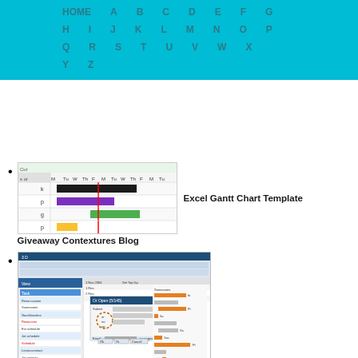HOME A B C D E F G H I J K L M N O P Q R S T U V W X Y Z
[Figure (screenshot): Excel Gantt chart template screenshot showing a spreadsheet with colored bars (black, purple, green, yellow) on a timeline grid with a red vertical line indicating current date. Column headers show M Tu W Th F M Tu W Th F M Tu.]
Excel Gantt Chart Template Giveaway Contextures Blog
[Figure (screenshot): Microsoft Project Gantt chart software screenshot showing project tasks with orange and grey bars on a timeline, with dialog boxes open for task settings.]
Microsoft Project Gantt Chart